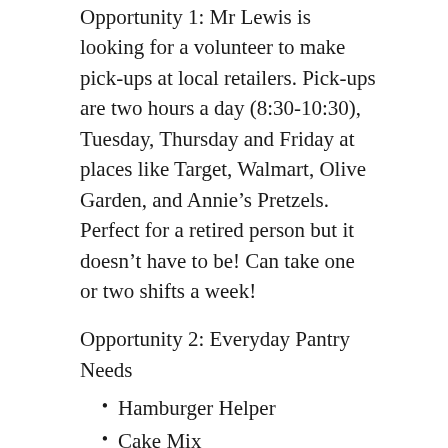Opportunity 1: Mr Lewis is looking for a volunteer to make pick-ups at local retailers. Pick-ups are two hours a day (8:30-10:30), Tuesday, Thursday and Friday at places like Target, Walmart, Olive Garden, and Annie's Pretzels. Perfect for a retired person but it doesn't have to be! Can take one or two shifts a week!
Opportunity 2: Everyday Pantry Needs
Hamburger Helper
Cake Mix
Crackers
Bagged Rice
Breakfast Cereals in a Box
Breakfast or Energy Bars